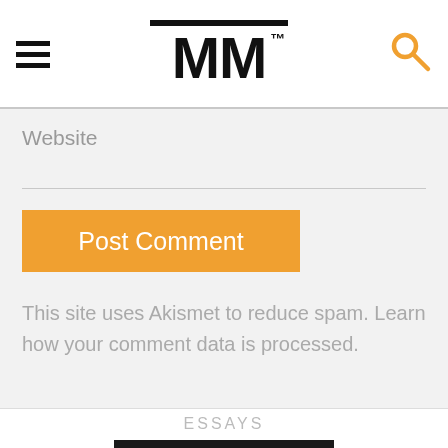MM (logo with hamburger menu and search icon)
Website
[Figure (other): Post Comment button — orange/amber button with white text]
This site uses Akismet to reduce spam. Learn how your comment data is processed.
ESSAYS
[Figure (photo): Black and white photo of a musician playing, visible hands and instrument]